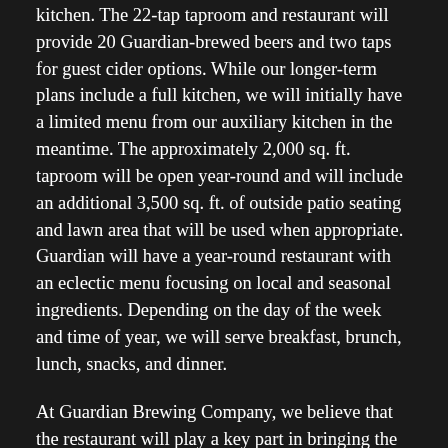kitchen. The 22-tap taproom and restaurant will provide 20 Guardian-brewed beers and two taps for guest cider options. While our longer-term plans include a full kitchen, we will initially have a limited menu from our auxiliary kitchen in the meantime. The approximately 2,000 sq. ft. taproom will be open year-round and will include an additional 3,500 sq. ft. of outside patio seating and lawn area that will be used when appropriate. Guardian will have a year-round restaurant with an eclectic menu focusing on local and seasonal ingredients. Depending on the day of the week and time of year, we will serve breakfast, brunch, lunch, snacks, and dinner.
At Guardian Brewing Company, we believe that the restaurant will play a key part in bringing the community together by offering fantastic food options, great craft beer, educational programming, and recreational activities. The Line cook assists the Head Chef to ensure a smooth operation of the kitchen by